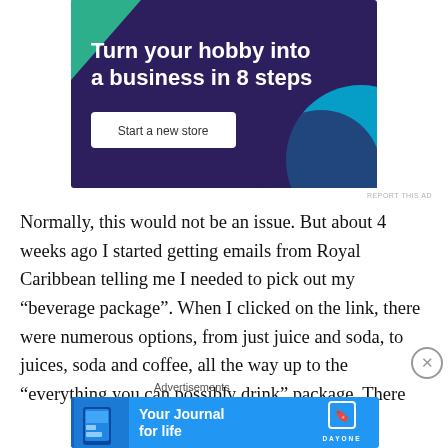[Figure (infographic): Advertisement banner with dark purple background showing 'Turn your hobby into a business in 8 steps' with a 'Start a new store' button and teal/green decorative shapes]
REPORT THIS AD
Normally, this would not be an issue.  But about 4 weeks ago I started getting emails from Royal Caribbean telling me I needed to pick out my “beverage package”.  When I clicked on the link, there were numerous options, from just juice and soda, to juices, soda and coffee, all the way up to the “everything you can possibly drink” package.  There
Advertisements
[Figure (infographic): Day One app advertisement with blue background showing 'Your Journal for life' text with app icon and phone mockup]